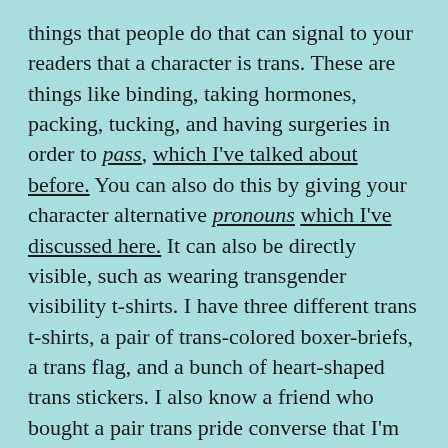things that people do that can signal to your readers that a character is trans. These are things like binding, taking hormones, packing, tucking, and having surgeries in order to pass, which I've talked about before. You can also do this by giving your character alternative pronouns which I've discussed here. It can also be directly visible, such as wearing transgender visibility t-shirts. I have three different trans t-shirts, a pair of trans-colored boxer-briefs, a trans flag, and a bunch of heart-shaped trans stickers. I also know a friend who bought a pair trans pride converse that I'm considering buying for myself.  If you want a good example of this, I would suggest you check out J. Y. Yang's Tensorate Series.